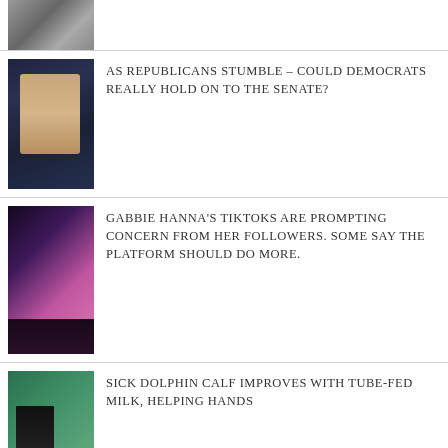[Figure (photo): Partial photo of a person in gray jacket, cropped at top]
[Figure (photo): Man in suit speaking at a podium with US flag in background]
AS REPUBLICANS STUMBLE – COULD DEMOCRATS REALLY HOLD ON TO THE SENATE?
[Figure (photo): Young woman with pink hair smiling]
GABBIE HANNA'S TIKTOKS ARE PROMPTING CONCERN FROM HER FOLLOWERS. SOME SAY THE PLATFORM SHOULD DO MORE.
[Figure (photo): Person in wetsuit holding a dolphin in water]
SICK DOLPHIN CALF IMPROVES WITH TUBE-FED MILK, HELPING HANDS
[Figure (photo): Older Asian man at a table with flags in background]
UN EXPERT OFFERS PLAN FOR IMPROVING HUMAN RIGHTS IN CAMBODIA